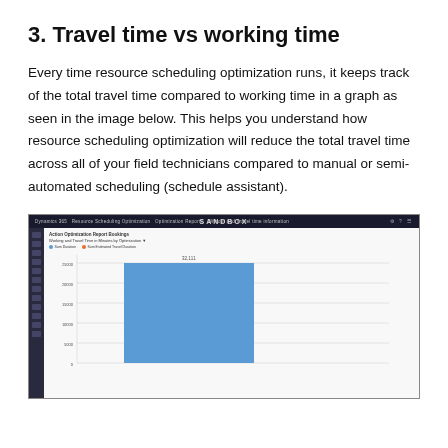3. Travel time vs working time
Every time resource scheduling optimization runs, it keeps track of the total travel time compared to working time in a graph as seen in the image below. This helps you understand how resource scheduling optimization will reduce the total travel time across all of your field technicians compared to manual or semi-automated scheduling (schedule assistant).
[Figure (screenshot): Screenshot of Microsoft Dynamics 365 Resource Scheduling Optimization interface showing a bar chart titled 'Working and Travel Time in Minutes by Optimization' with a SANDBOX banner. The chart shows a tall blue bar representing Sum Duration and an orange indicator for Sum Estimated Travel Duration. The chart x-axis has an optimization run and y-axis shows values from 0 to approximately 35000.]